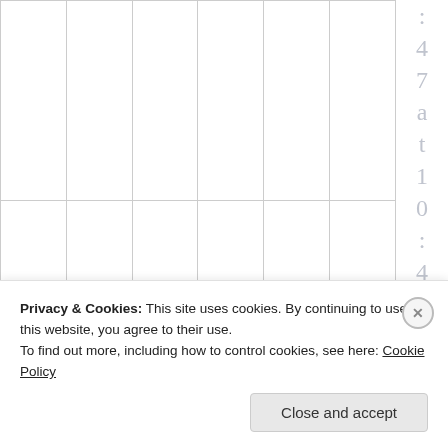|  |  |  |  |  |  |  |
|  |  |  |  |  |  |  |
L
Privacy & Cookies: This site uses cookies. By continuing to use this website, you agree to their use.
To find out more, including how to control cookies, see here: Cookie Policy
Close and accept